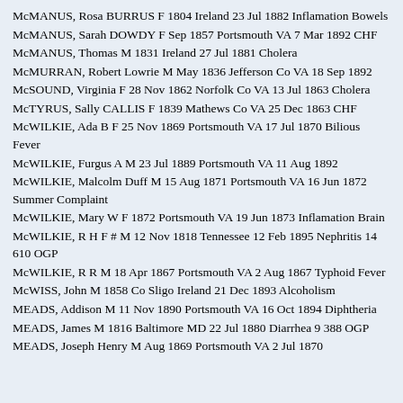McMANUS, Rosa BURRUS F 1804 Ireland 23 Jul 1882 Inflamation Bowels
McMANUS, Sarah DOWDY F Sep 1857 Portsmouth VA 7 Mar 1892 CHF
McMANUS, Thomas M 1831 Ireland 27 Jul 1881 Cholera
McMURRAN, Robert Lowrie M May 1836 Jefferson Co VA 18 Sep 1892
McSOUND, Virginia F 28 Nov 1862 Norfolk Co VA 13 Jul 1863 Cholera
McTYRUS, Sally CALLIS F 1839 Mathews Co VA 25 Dec 1863 CHF
McWILKIE, Ada B F 25 Nov 1869 Portsmouth VA 17 Jul 1870 Bilious Fever
McWILKIE, Furgus A M 23 Jul 1889 Portsmouth VA 11 Aug 1892
McWILKIE, Malcolm Duff M 15 Aug 1871 Portsmouth VA 16 Jun 1872 Summer Complaint
McWILKIE, Mary W F 1872 Portsmouth VA 19 Jun 1873 Inflamation Brain
McWILKIE, R H F # M 12 Nov 1818 Tennessee 12 Feb 1895 Nephritis 14 610 OGP
McWILKIE, R R M 18 Apr 1867 Portsmouth VA 2 Aug 1867 Typhoid Fever
McWISS, John M 1858 Co Sligo Ireland 21 Dec 1893 Alcoholism
MEADS, Addison M 11 Nov 1890 Portsmouth VA 16 Oct 1894 Diphtheria
MEADS, James M 1816 Baltimore MD 22 Jul 1880 Diarrhea 9 388 OGP
MEADS, Joseph Henry M Aug 1869 Portsmouth VA 2 Jul 1870